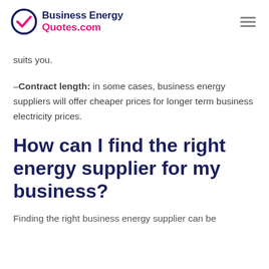Business Energy Quotes.com
suits you.
–Contract length: in some cases, business energy suppliers will offer cheaper prices for longer term business electricity prices.
How can I find the right energy supplier for my business?
Finding the right business energy supplier can be